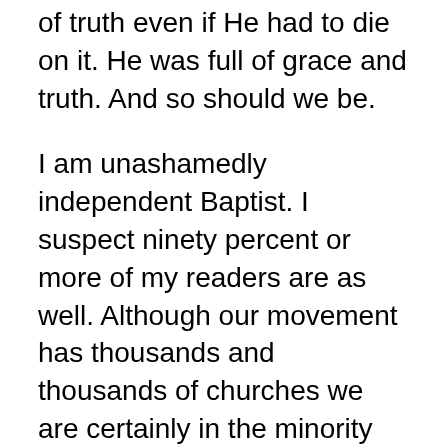of truth even if He had to die on it. He was full of grace and truth. And so should we be.
I am unashamedly independent Baptist. I suspect ninety percent or more of my readers are as well. Although our movement has thousands and thousands of churches we are certainly in the minority when it comes to American Christianity. This American Christianity has been pushing leftward at an increasingly rapid clip in my lifetime. I am not talking about the Mormons and the Catholics; I am talking about our brethren in Christ, God’s people. I am talking about evangelical Protestantism, non-denominationalism, the large